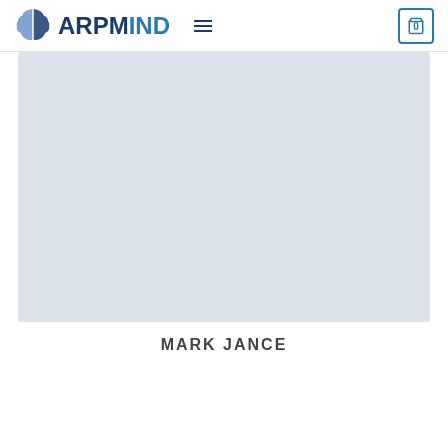ARPMIND
[Figure (illustration): Light blue-gray rectangular image placeholder area]
MARK JANCE